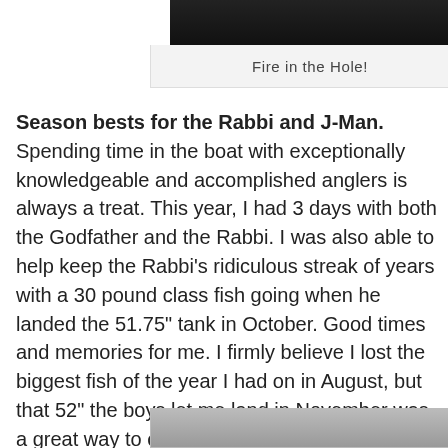[Figure (photo): Dark/black photograph partially visible at top of page]
Fire in the Hole!
Season bests for the Rabbi and J-Man. Spending time in the boat with exceptionally knowledgeable and accomplished anglers is always a treat. This year, I had 3 days with both the Godfather and the Rabbi. I was also able to help keep the Rabbi’s ridiculous streak of years with a 30 pound class fish going when he landed the 51.75” tank in October. Good times and memories for me. I firmly believe I lost the biggest fish of the year I had on in August, but that 52” the boys let me land in November was a great way to cap off another season in which I already considered a great success for me personally. It was nice to get in on the big fish action late in the season.
[Figure (photo): Partial photo visible at bottom of page]